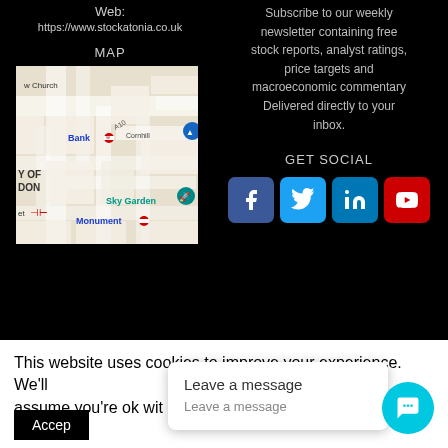Web:
https://www.stockatonia.co.uk
MAP
[Figure (map): Street map of the City of London area showing Bank, Cornhill, Sky Garden, Monument, and surrounding streets]
Subscribe to our weekly newsletter containing free stock reports, analyst ratings, price targets and macroeconomic commentary Delivered directly to your inbox.
GET SOCIAL
[Figure (infographic): Social media icons: Facebook (blue), Twitter (light blue), LinkedIn (blue), YouTube (red)]
This website uses cookies to improve your experience. We'll assume you're ok with this, but you can opt-out if you wish.
Accept
Leave a message
Leave a message